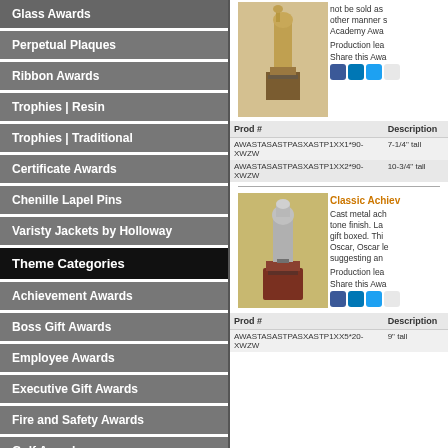Glass Awards
Perpetual Plaques
Ribbon Awards
Trophies | Resin
Trophies | Traditional
Certificate Awards
Chenille Lapel Pins
Varisty Jackets by Holloway
Theme Categories
Achievement Awards
Boss Gift Awards
Employee Awards
Executive Gift Awards
Fire and Safety Awards
Golf Awards
Marble Awards
not be sold as... other manner s... Academy Awa...
Production lea...
Share this Awa...
| Prod # | Description |
| --- | --- |
| AWASTASASTPASXASTP1XX1*90-XWZW | 7-1/4" tall |
| AWASTASASTPASXASTP1XX2*90-XWZW | 10-3/4" tall |
Classic Achiev...
Cast metal ach... tone finish. La... gift boxed. Thi... Oscar, Oscar le... suggesting an...
Production lea...
Share this Awa...
| Prod # | Description |
| --- | --- |
| AWASTASASTPASXASTP1XX5*20-XWZW | 9" tall |